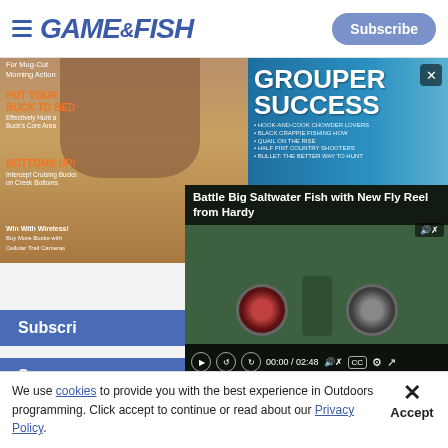GAME&FISH
[Figure (screenshot): Two magazine covers side by side: left cover shows deer hunting content with orange text 'PUT YOUR BUCK TO BED' and 'BOTTOMS UP!'; right cover shows 'GROUPER SUCCESS' in large white text on blue background]
[Figure (screenshot): Video overlay titled 'Battle Big Saltwater Fish with New Fly Reel from Hardy' showing a person holding fishing reels, with video controls showing 00:00 / 02:48]
Subscribe
S
Special Interest Magazines
We use cookies to provide you with the best experience in Outdoors programming. Click accept to continue or read about our Privacy Policy.